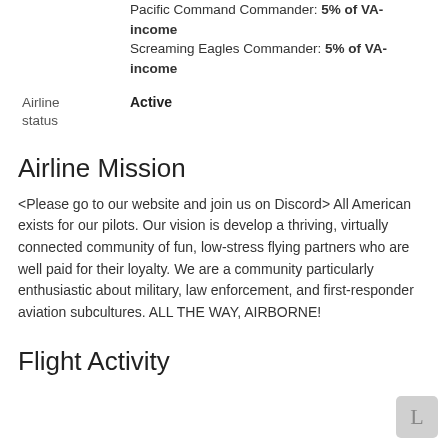Pacific Command Commander: 5% of VA-income
Screaming Eagles Commander: 5% of VA-income
| Airline status | Active |
| --- | --- |
Airline Mission
<Please go to our website and join us on Discord> All American exists for our pilots. Our vision is develop a thriving, virtually connected community of fun, low-stress flying partners who are well paid for their loyalty. We are a community particularly enthusiastic about military, law enforcement, and first-responder aviation subcultures. ALL THE WAY, AIRBORNE!
Flight Activity